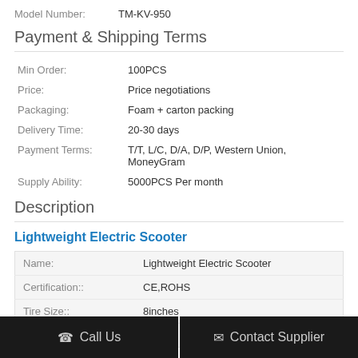Model Number: TM-KV-950
Payment & Shipping Terms
| Min Order: | 100PCS |
| Price: | Price negotiations |
| Packaging: | Foam + carton packing |
| Delivery Time: | 20-30 days |
| Payment Terms: | T/T, L/C, D/A, D/P, Western Union, MoneyGram |
| Supply Ability: | 5000PCS Per month |
Description
Lightweight Electric Scooter
| Name: | Lightweight Electric Scooter |
| Certification:: | CE,ROHS |
| Tire Size:: | 8inches |
| Material:: | Alloy |
Call Us   Contact Supplier